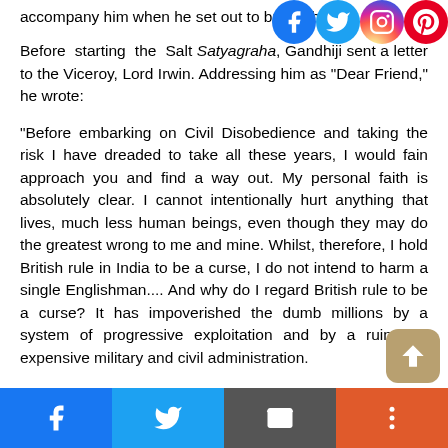accompany him when he set out to break the law.
Before starting the Salt Satyagraha, Gandhiji sent a letter to the Viceroy, Lord Irwin. Addressing him as "Dear Friend," he wrote:
"Before embarking on Civil Disobedience and taking the risk I have dreaded to take all these years, I would fain approach you and find a way out. My personal faith is absolutely clear. I cannot intentionally hurt anything that lives, much less human beings, even though they may do the greatest wrong to me and mine. Whilst, therefore, I hold British rule in India to be a curse, I do not intend to harm a single Englishman.... And why do I regard British rule to be a curse? It has impoverished the dumb millions by a system of progressive exploitation and by a ruinously expensive military and civil administration...
[Figure (infographic): Social media share icons (Facebook, Twitter, Instagram, Pinterest) in top right corner, and a bottom share bar with Facebook, Twitter, Email, More buttons, plus an upload/scroll-up button]